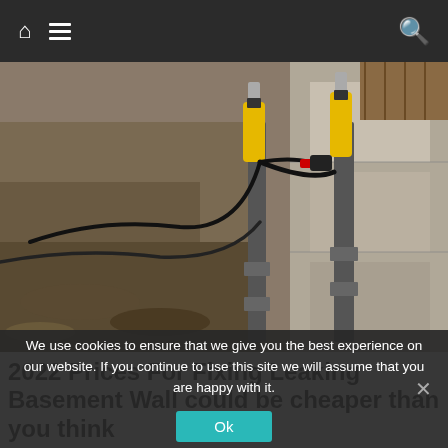Navigation bar with home icon, hamburger menu, and search icon
[Figure (photo): Construction site showing foundation repair work with yellow hydraulic tools and black cables attached to a concrete block wall, with excavated earth in the foreground]
2022 Prices For Fixing Leaking Basement Wall could be cheaper than you think
We use cookies to ensure that we give you the best experience on our website. If you continue to use this site we will assume that you are happy with it.
Ok